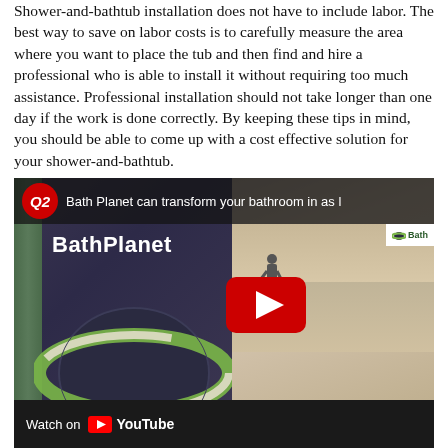Shower-and-bathtub installation does not have to include labor. The best way to save on labor costs is to carefully measure the area where you want to place the tub and then find and hire a professional who is able to install it without requiring too much assistance. Professional installation should not take longer than one day if the work is done correctly. By keeping these tips in mind, you should be able to come up with a cost effective solution for your shower-and-bathtub.
[Figure (screenshot): YouTube video thumbnail showing Bath Planet store signage and interior. Features Q2 news logo and text 'Bath Planet can transform your bathroom in as l...' at top. Left side shows a dark purple BathPlanet branded sign with planet logo (green and white). Right side shows store interior. Large YouTube play button in center. Bottom bar reads 'Watch on YouTube'.]